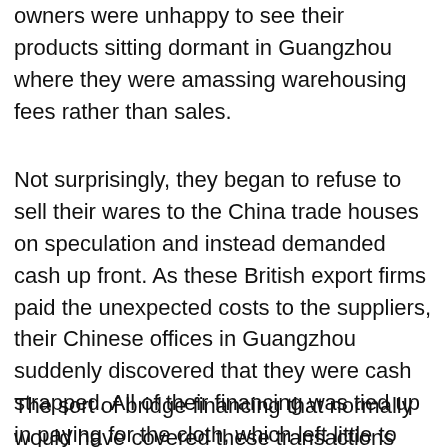owners were unhappy to see their products sitting dormant in Guangzhou where they were amassing warehousing fees rather than sales.
Not surprisingly, they began to refuse to sell their wares to the China trade houses on speculation and instead demanded cash up front. As these British export firms paid the unexpected costs to the suppliers, their Chinese offices in Guangzhou suddenly discovered that they were cash strapped. All of their financing was tied up in paying for the cloth, which left little to pay Chinese merchants for the tea, silk, sugar, porcelain and other goods which the area exported.
The sort of bridge financing that normally would have covered these transactions was not available because of the on-going credit crunch. The end